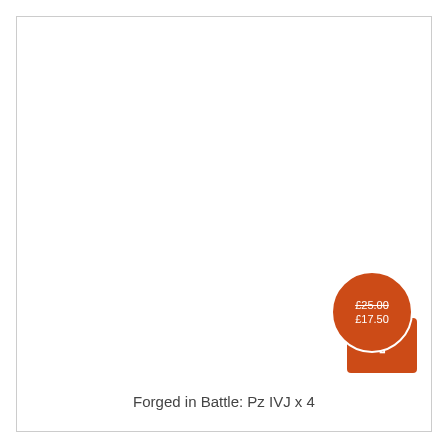[Figure (other): Product card with white image area, orange price badge showing £25.00 crossed out and £17.50 sale price, orange cart button with up arrow chevron]
Forged in Battle: Pz IVJ x 4